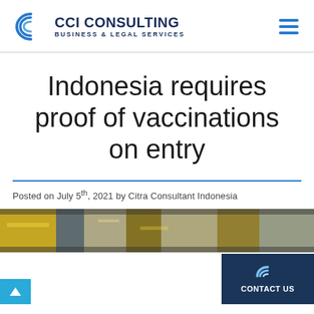[Figure (logo): CCI Consulting Business & Legal Services logo with crescent/arc icon]
Indonesia requires proof of vaccinations on entry
Posted on July 5th, 2021 by Citra Consultant Indonesia
[Figure (photo): Airport terminal interior photograph, partially covered by Contact Us button]
[Figure (other): CONTACT US button with CCI logo icon, dark navy background]